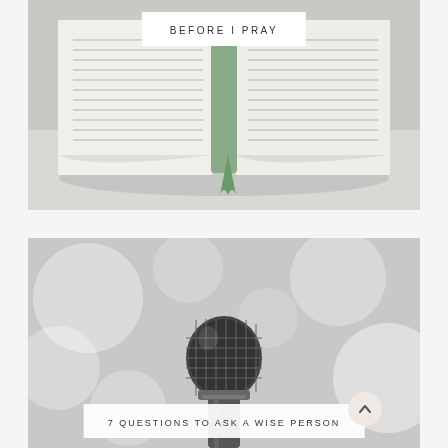[Figure (photo): Open Bible/book photographed from above showing pages with text, with a green bookmark/ribbon, on a light grey surface. Black and white/desaturated tones.]
BEFORE I PRAY
[Figure (photo): Close-up of a black and white microphone in the foreground against a blurred bokeh background of white/grey light circles.]
7 QUESTIONS TO ASK A WISE PERSON